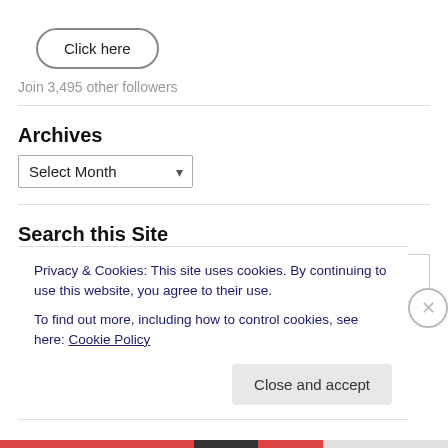Click here
Join 3,495 other followers
Archives
Select Month
Search this Site
Search
Privacy & Cookies: This site uses cookies. By continuing to use this website, you agree to their use.
To find out more, including how to control cookies, see here: Cookie Policy
Close and accept